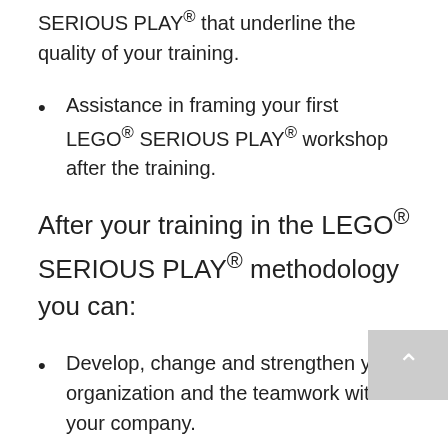SERIOUS PLAY® that underline the quality of your training.
Assistance in framing your first LEGO® SERIOUS PLAY® workshop after the training.
After your training in the LEGO® SERIOUS PLAY® methodology you can:
Develop, change and strengthen your organization and the teamwork within your company.
Optimize processes and performances within your organization or company.